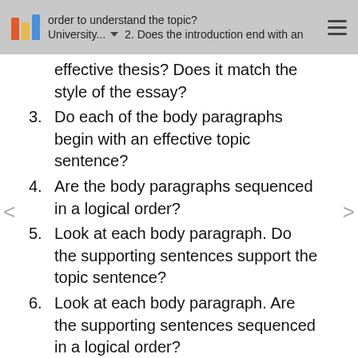order to understand the topic? University... 2. Does the introduction end with an effective thesis? Does it match the style of the essay?
2. Does the introduction end with an effective thesis? Does it match the style of the essay?
3. Do each of the body paragraphs begin with an effective topic sentence?
4. Are the body paragraphs sequenced in a logical order?
5. Look at each body paragraph. Do the supporting sentences support the topic sentence?
6. Look at each body paragraph. Are the supporting sentences sequenced in a logical order?
7. Look at each body paragraph. Is there enough development? Are there more